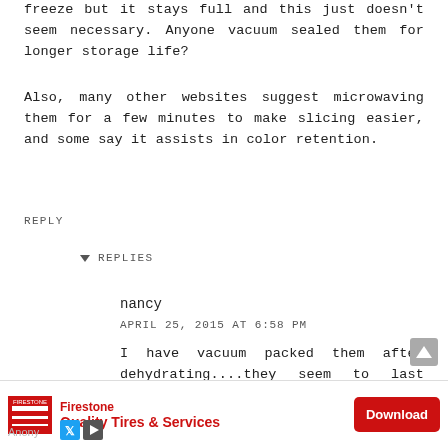freeze but it stays full and this just doesn't seem necessary. Anyone vacuum sealed them for longer storage life?
Also, many other websites suggest microwaving them for a few minutes to make slicing easier, and some say it assists in color retention.
REPLY
▾ REPLIES
nancy
APRIL 25, 2015 AT 6:58 PM
I have vacuum packed them after dehydrating....they seem to last quite a long time but today someone mentioned something about botulism and now I am concerned and have been doing some searching but have not found any answers yet.
REPLY
[Figure (infographic): Firestone advertisement banner with logo, 'Quality Tires & Services' text, and a red Download button]